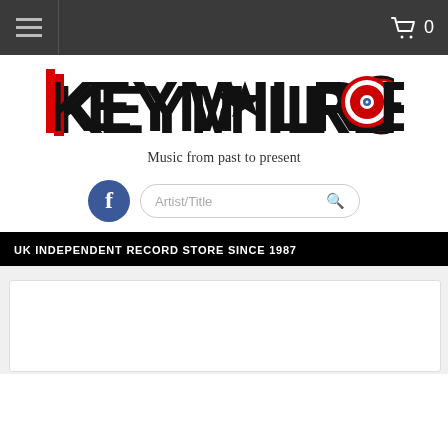Navigation bar with hamburger menu and cart icon showing 0
[Figure (logo): Keymailrecords logo — stylized text KEYMAIL RECORDS where A is replaced by a star, O is replaced by a vinyl record circle. Tagline: Music from past to present]
Artist/Title (search box placeholder)
UK INDEPENDENT RECORD STORE SINCE 1987
[Figure (other): White content card/rectangle at bottom of page]